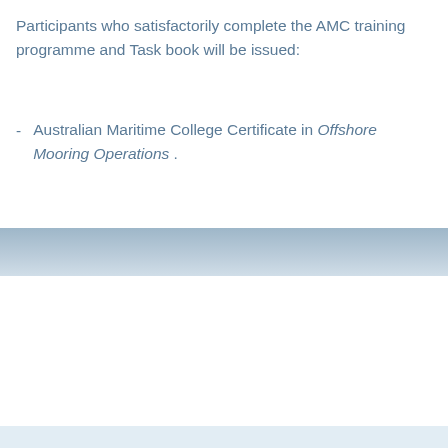Participants who satisfactorily complete the AMC training programme and Task book will be issued:
Australian Maritime College Certificate in Offshore Mooring Operations.
[Figure (photo): Blue-gray horizontal band representing a maritime/ocean photographic strip across the middle of the page]